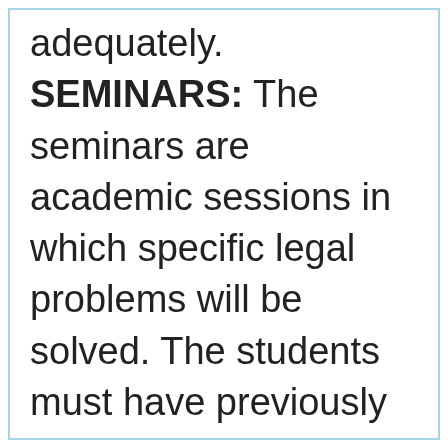adequately. SEMINARS: The seminars are academic sessions in which specific legal problems will be solved. The students must have previously